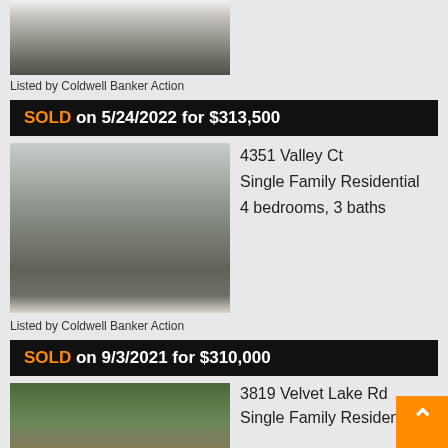[Figure (photo): Exterior photo of a property with snow, partially cropped at top]
Listed by Coldwell Banker Action
SOLD on 5/24/2022 for $313,500
[Figure (photo): Exterior photo of 4351 Valley Ct in winter with snow-covered driveway]
4351 Valley Ct
Single Family Residential
4 bedrooms, 3 baths
Listed by Coldwell Banker Action
SOLD on 9/3/2021 for $310,000
[Figure (photo): Exterior photo of 3819 Velvet Lake Rd surrounded by trees]
3819 Velvet Lake Rd
Single Family Residential